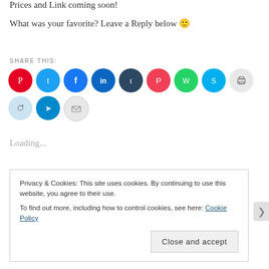Prices and Link coming soon!
What was your favorite? Leave a Reply below 🙂
SHARE THIS:
[Figure (other): Row of social share icon buttons: Pinterest (red), Twitter (light blue), Facebook (blue), LinkedIn (dark blue), Tumblr (dark navy), Pocket (red), WhatsApp (green), Skype (cyan), Print (light gray), Reddit (light blue-gray), Telegram (blue), Email (light gray)]
Loading...
Privacy & Cookies: This site uses cookies. By continuing to use this website, you agree to their use.
To find out more, including how to control cookies, see here: Cookie Policy
Close and accept